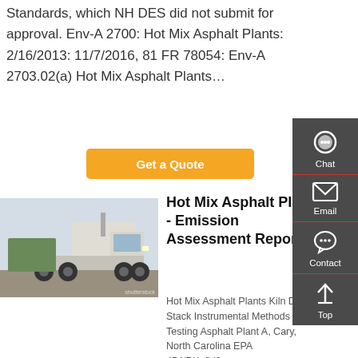Standards, which NH DES did not submit for approval. Env-A 2700: Hot Mix Asphalt Plants: 2/16/2013: 11/7/2016, 81 FR 78054: Env-A 2703.02(a) Hot Mix Asphalt Plants…
Get a Quote
[Figure (photo): A white semi-truck / tractor vehicle photographed from the side-front angle in an outdoor setting with other trucks in background.]
Hot Mix Asphalt Plants - Emission Assessment Report
Hot Mix Asphalt Plants Kiln Dryer Stack Instrumental Methods Testing Asphalt Plant A, Cary, North Carolina EPA 454/RKofid0...